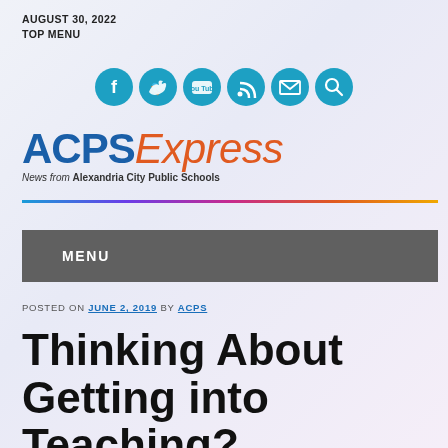AUGUST 30, 2022
TOP MENU
[Figure (illustration): Six teal social media icon circles: Facebook, Twitter, YouTube, RSS feed, Email, Search]
[Figure (logo): ACPS Express logo — 'ACPS' in bold blue, 'Express' in italic orange, subtitle 'News from Alexandria City Public Schools']
POSTED ON JUNE 2, 2019 BY ACPS
Thinking About Getting into Teaching?